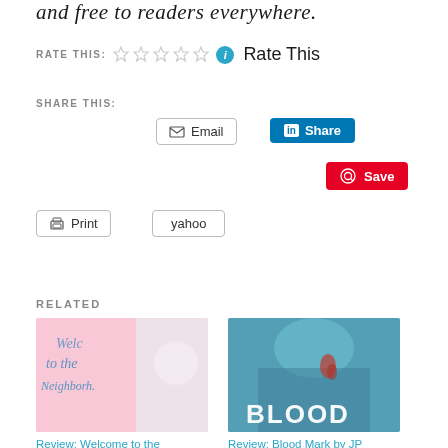and free to readers everywhere.
RATE THIS: ☆☆☆☆☆ ℹ Rate This
SHARE THIS:
Email | Share | Save | Print | yahoo
RELATED
[Figure (photo): Book cover: Welcome to the Neighborhood by Lisa - pink and colorful]
Review: Welcome to the Neighborhood by Lisa
[Figure (photo): Book cover: Blood Mark by JP McLean - dark teal with shoulder tattoo]
Review: Blood Mark by JP McLean